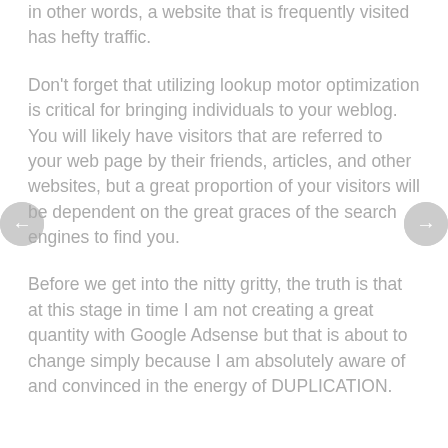in other words, a website that is frequently visited has hefty traffic.
Don't forget that utilizing lookup motor optimization is critical for bringing individuals to your weblog. You will likely have visitors that are referred to your web page by their friends, articles, and other websites, but a great proportion of your visitors will be dependent on the great graces of the search engines to find you.
Before we get into the nitty gritty, the truth is that at this stage in time I am not creating a great quantity with Google Adsense but that is about to change simply because I am absolutely aware of and convinced in the energy of DUPLICATION.